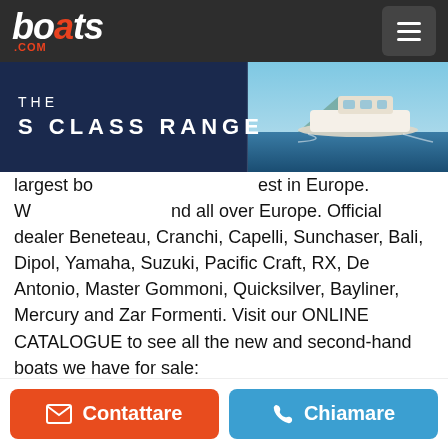boats.com
[Figure (screenshot): Advertisement banner for THE S CLASS RANGE with a boat image on the right side and dark navy background on the left]
largest bo... est in Europe. W... nd all over Europe. Official dealer Beneteau, Cranchi, Capelli, Sunchaser, Bali, Dipol, Yamaha, Suzuki, Pacific Craft, RX, De Antonio, Master Gommoni, Quicksilver, Bayliner, Mercury and Zar Formenti. Visit our ONLINE CATALOGUE to see all the new and second-hand boats we have for sale: https://www.portinauta.com/boats/used/. We have over 200 boats for sale in Portugal. Motoryacht Sunseeker Manhattan 52 for sale with 2 Volvo Penta 800 HP inboard engines (750 hours). Reference: CLS283 Condition: Second hand Model year: 2009 Overall Length: 17,6 m Beam: 4,62 m Hours: 750 Engine: 2 x Volvo Penta 800 HP Fuel: Diesel Hull Material: Fiberglass Weight with Engine: 16.940,0 Kg Draft: 1,26 m
Contattare | Chiamare